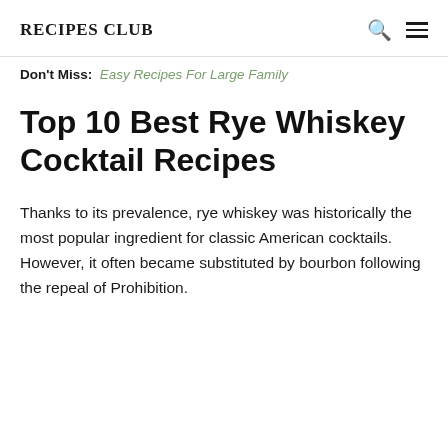RECIPES CLUB
Don't Miss: Easy Recipes For Large Family
Top 10 Best Rye Whiskey Cocktail Recipes
Thanks to its prevalence, rye whiskey was historically the most popular ingredient for classic American cocktails. However, it often became substituted by bourbon following the repeal of Prohibition.